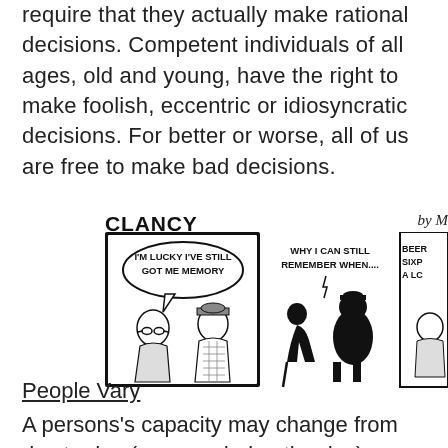require that they actually make rational decisions. Competent individuals of all ages, old and young, have the right to make foolish, eccentric or idiosyncratic decisions. For better or worse, all of us are free to make bad decisions.
[Figure (illustration): CLANCY comic strip by M showing three panels: first panel has two elderly men talking with speech bubble 'I'M LUCKY I'VE STILL GOT ME MEMORY'; second panel shows silhouettes of two elderly figures with text 'WHY I CAN STILL REMEMBER WHEN....'; third panel partially visible showing an elderly man with text 'BEER SIXP A LC']
People Vary
A persons's capacity may change from day to day (or even during the day), a condition that